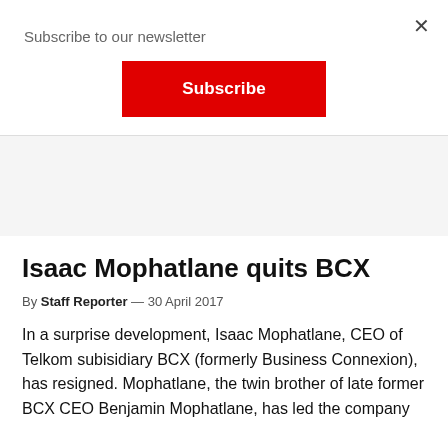Subscribe to our newsletter
Subscribe
Isaac Mophatlane quits BCX
By Staff Reporter — 30 April 2017
In a surprise development, Isaac Mophatlane, CEO of Telkom subisidiary BCX (formerly Business Connexion), has resigned. Mophatlane, the twin brother of late former BCX CEO Benjamin Mophatlane, has led the company